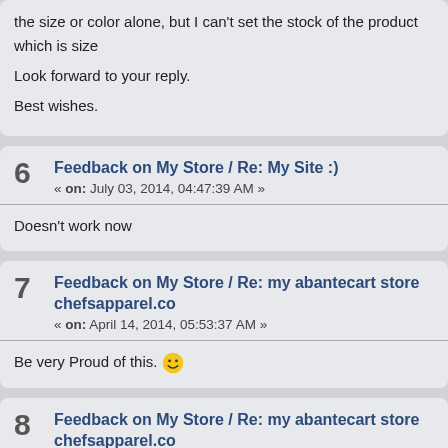the size or color alone, but I can't set the stock of the product which is size
Look forward to your reply.
Best wishes.
6 Feedback on My Store / Re: My Site :) « on: July 03, 2014, 04:47:39 AM »
Doesn't work now
7 Feedback on My Store / Re: my abantecart store chefsapparel.co « on: April 14, 2014, 05:53:37 AM »
Be very Proud of this. 😀
8 Feedback on My Store / Re: my abantecart store chefsapparel.co « on: April 14, 2014, 02:53:58 AM »
abantecart multi site support